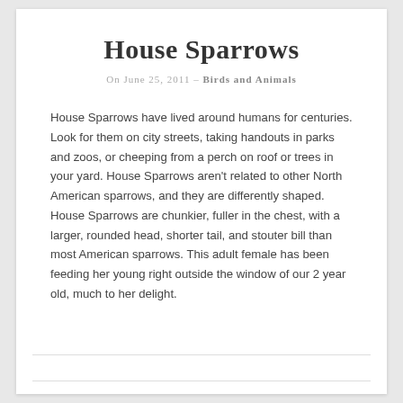House Sparrows
On June 25, 2011 – Birds and Animals
House Sparrows have lived around humans for centuries. Look for them on city streets, taking handouts in parks and zoos, or cheeping from a perch on roof or trees in your yard. House Sparrows aren't related to other North American sparrows, and they are differently shaped. House Sparrows are chunkier, fuller in the chest, with a larger, rounded head, shorter tail, and stouter bill than most American sparrows. This adult female has been feeding her young right outside the window of our 2 year old, much to her delight.